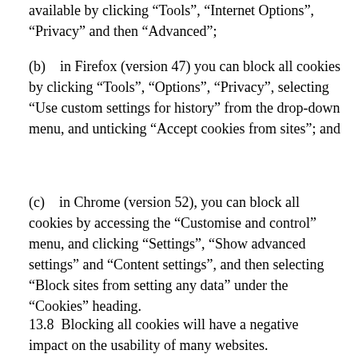available by clicking "Tools", "Internet Options", "Privacy" and then "Advanced";
(b)    in Firefox (version 47) you can block all cookies by clicking "Tools", "Options", "Privacy", selecting "Use custom settings for history" from the drop-down menu, and unticking "Accept cookies from sites"; and
(c)    in Chrome (version 52), you can block all cookies by accessing the "Customise and control" menu, and clicking "Settings", "Show advanced settings" and "Content settings", and then selecting "Block sites from setting any data" under the "Cookies" heading.
13.8  Blocking all cookies will have a negative impact on the usability of many websites.